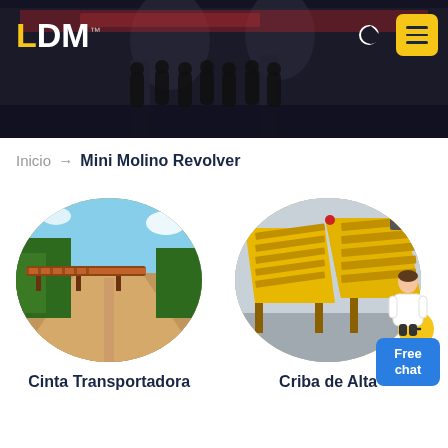LDM
Inicio → Mini Molino Revolver
[Figure (photo): Industrial hall with heavy mining/crushing machinery and people standing in front, dark background, website header banner for LDM]
[Figure (photo): Oval-shaped photo of a conveyor belt running through a dirt road with green vegetation on the sides]
Cinta Transportadora
[Figure (photo): Oval-shaped photo of yellow industrial screening/vibrating machinery (criba) in a warehouse]
Criba de Alta